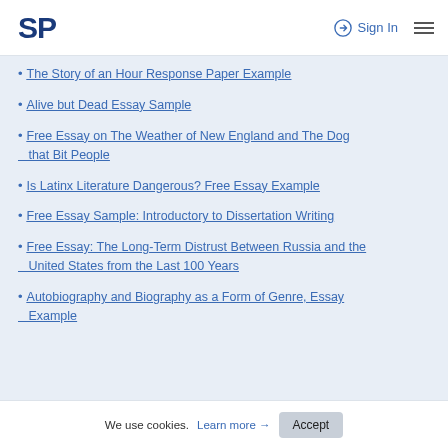SP  Sign In  ☰
The Story of an Hour Response Paper Example
Alive but Dead Essay Sample
Free Essay on The Weather of New England and The Dog that Bit People
Is Latinx Literature Dangerous? Free Essay Example
Free Essay Sample: Introductory to Dissertation Writing
Free Essay: The Long-Term Distrust Between Russia and the United States from the Last 100 Years
Autobiography and Biography as a Form of Genre, Essay Example
We use cookies. Learn more → Accept